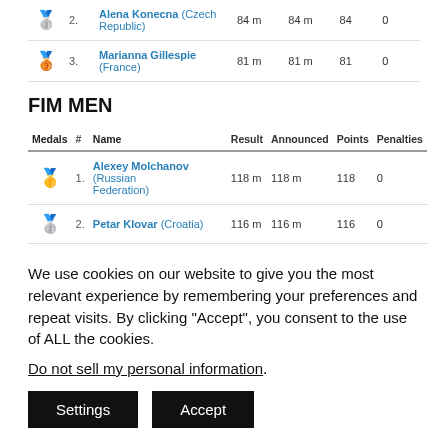| Medals | # | Name | Result | Announced | Points | Penalties |
| --- | --- | --- | --- | --- | --- | --- |
| 🥈 | 2. | Alena Konecna (Czech Republic) | 84 m | 84 m | 84 | 0 |
| 🥉 | 3. | Marianna Gillespie (France) | 81 m | 81 m | 81 | 0 |
FIM MEN
| Medals | # | Name | Result | Announced | Points | Penalties |
| --- | --- | --- | --- | --- | --- | --- |
| 🥇 | 1. | Alexey Molchanov (Russian Federation) | 118 m | 118 m | 118 | 0 |
| 🥈 | 2. | Petar Klovar (Croatia) | 116 m | 116 m | 116 | 0 |
| 🥉 | 3. | Abdelatif Alouach (France) | 111 m | 111 m | 111 | 0 |
We use cookies on our website to give you the most relevant experience by remembering your preferences and repeat visits. By clicking "Accept", you consent to the use of ALL the cookies.
Do not sell my personal information.